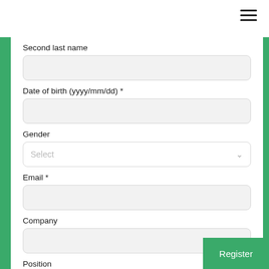[Figure (infographic): Hamburger menu icon (three horizontal lines) in top-right corner]
Second last name
Date of birth (yyyy/mm/dd) *
Gender
Email *
Company
Position
Register